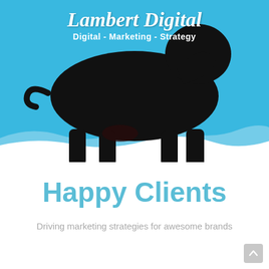[Figure (logo): Lambert Digital logo with cow silhouette on blue background, italic serif text 'Lambert Digital' and sans-serif subtitle 'Digital - Marketing - Strategy']
Happy Clients
Driving marketing strategies for awesome brands